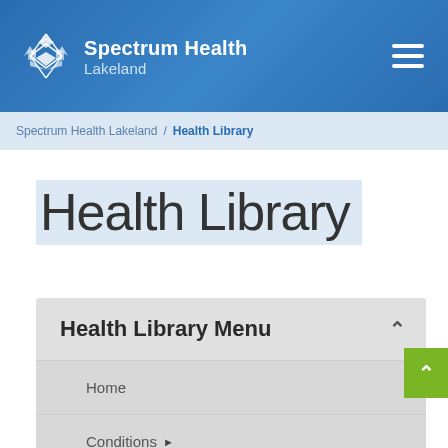[Figure (logo): Spectrum Health Lakeland logo with diamond/lattice icon in white on blue background]
Spectrum Health Lakeland
Spectrum Health Lakeland / Health Library
Health Library
Health Library Menu
Home
Conditions ▶
Health Centers ▶